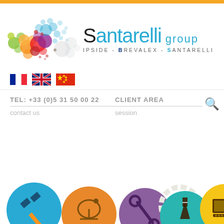[Figure (logo): Santarelli Group logo with colorful bubble/circle cluster on left and text 'Santarelli group' with tagline 'IPSIDE - BREVALEX - SANTARELLI']
[Figure (illustration): Three country flags: French flag, UK flag, Chinese flag]
TEL: +33 (0)5 31 50 00 22
CLIENT AREA
contact us
session
[Figure (illustration): Row of circular icons representing technology sectors: satellite, dish antenna, wrench/tools, science flask, laptop]